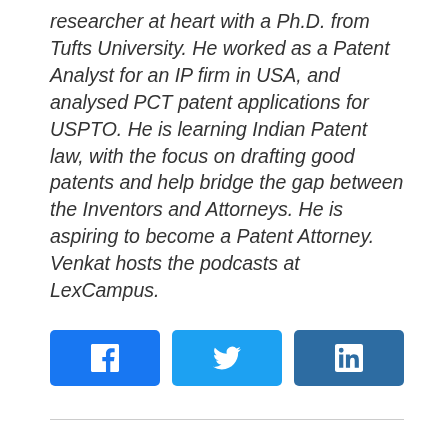researcher at heart with a Ph.D. from Tufts University. He worked as a Patent Analyst for an IP firm in USA, and analysed PCT patent applications for USPTO. He is learning Indian Patent law, with the focus on drafting good patents and help bridge the gap between the Inventors and Attorneys. He is aspiring to become a Patent Attorney. Venkat hosts the podcasts at LexCampus.
[Figure (other): Three social media share buttons: Facebook (blue), Twitter (light blue), LinkedIn (dark blue)]